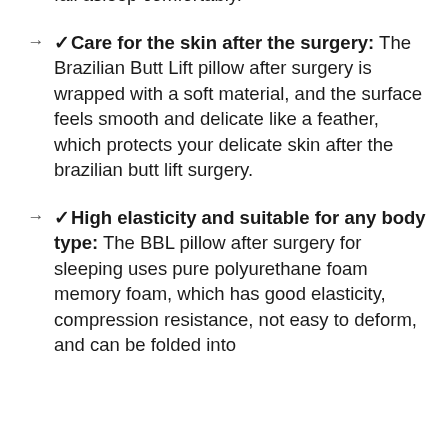fall asleep comfortably.
✓Care for the skin after the surgery: The Brazilian Butt Lift pillow after surgery is wrapped with a soft material, and the surface feels smooth and delicate like a feather, which protects your delicate skin after the brazilian butt lift surgery.
✓High elasticity and suitable for any body type: The BBL pillow after surgery for sleeping uses pure polyurethane foam memory foam, which has good elasticity, compression resistance, not easy to deform, and can be folded into